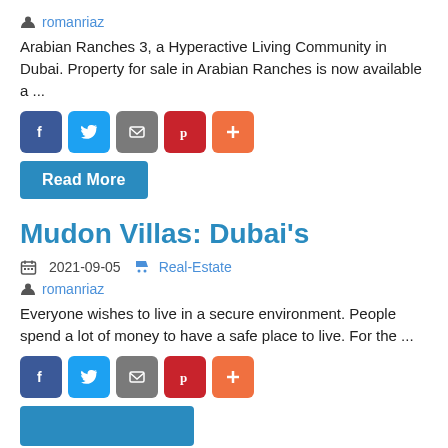romanriaz
Arabian Ranches 3, a Hyperactive Living Community in Dubai. Property for sale in Arabian Ranches is now available a ...
[Figure (other): Social share buttons: Facebook, Twitter, Email, Pinterest, Plus]
Read More
Mudon Villas: Dubai's
2021-09-05  Real-Estate
romanriaz
Everyone wishes to live in a secure environment. People spend a lot of money to have a safe place to live. For the ...
[Figure (other): Social share buttons: Facebook, Twitter, Email, Pinterest, Plus]
Read More (partial)